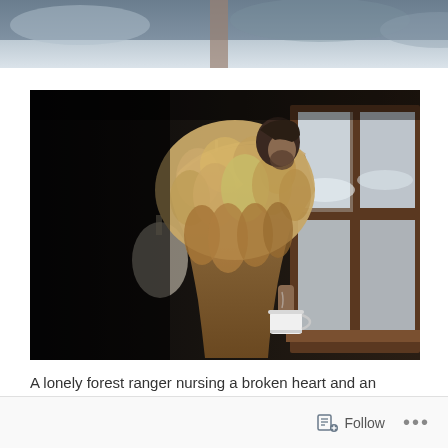[Figure (photo): Partial top view of a snowy, wintry outdoor scene — blue-grey sky and snow-covered surfaces, cropped at the top of the page.]
[Figure (photo): A man wearing a large, shaggy fur coat stands near a frosted multi-pane window looking outside. The interior is dark, contrasting with the bright snowy exterior. He holds a white enamel cup in his hand.]
A lonely forest ranger nursing a broken heart and an incredible
[Figure (screenshot): Bottom toolbar showing a Follow button with a follow icon and a three-dot menu icon, on a light grey background.]